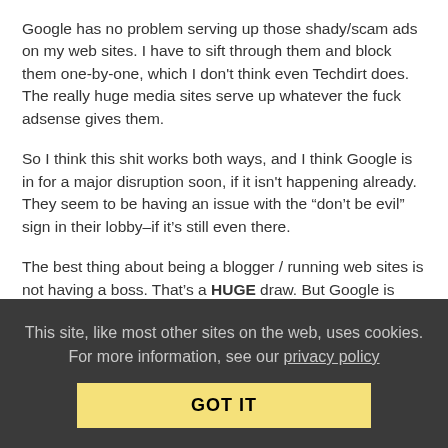Google has no problem serving up those shady/scam ads on my web sites. I have to sift through them and block them one-by-one, which I don't think even Techdirt does. The really huge media sites serve up whatever the fuck adsense gives them.
So I think this shit works both ways, and I think Google is in for a major disruption soon, if it isn't happening already. They seem to be having an issue with the “don't be evil” sign in their lobby–if it's still even there.
The best thing about being a blogger / running web sites is not having a boss. That's a HUGE draw. But Google is kind of like a boss since that's how many people choose to monetize their sites. And now they are starting to act like that douchebag boss we can all picture in our heads.
Reply | View in chronology
This site, like most other sites on the web, uses cookies. For more information, see our privacy policy
GOT IT